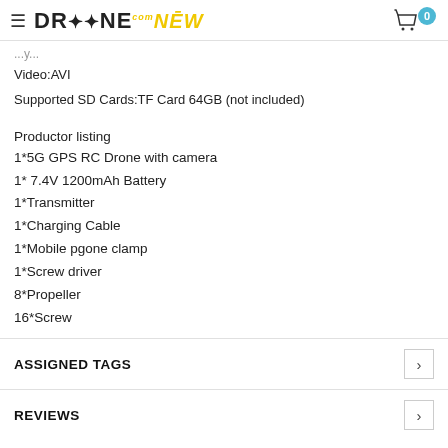DRONENEW.com
Video:AVI
Supported SD Cards:TF Card 64GB (not included)
Productor listing
1*5G GPS RC Drone with camera
1* 7.4V 1200mAh Battery
1*Transmitter
1*Charging Cable
1*Mobile pgone clamp
1*Screw driver
8*Propeller
16*Screw
ASSIGNED TAGS
REVIEWS